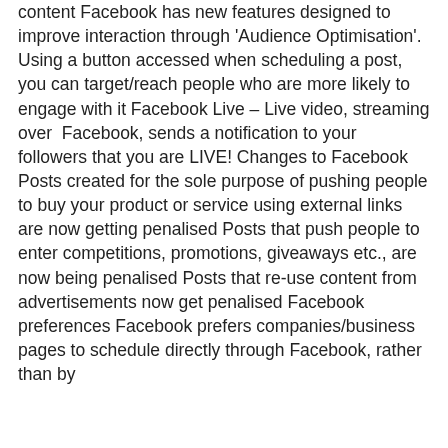content Facebook has new features designed to improve interaction through 'Audience Optimisation'. Using a button accessed when scheduling a post, you can target/reach people who are more likely to engage with it Facebook Live – Live video, streaming over Facebook, sends a notification to your followers that you are LIVE! Changes to Facebook Posts created for the sole purpose of pushing people to buy your product or service using external links are now getting penalised Posts that push people to enter competitions, promotions, giveaways etc., are now being penalised Posts that re-use content from advertisements now get penalised Facebook preferences Facebook prefers companies/business pages to schedule directly through Facebook, rather than by